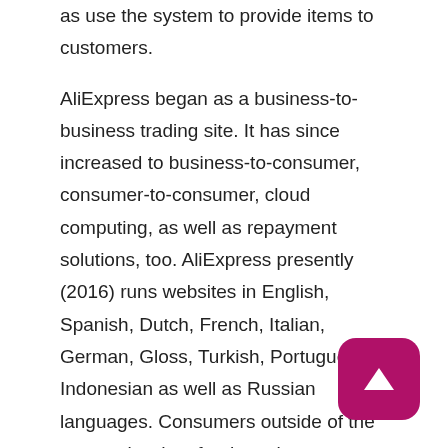as use the system to provide items to customers. AliExpress began as a business-to-business trading site. It has since increased to business-to-consumer, consumer-to-consumer, cloud computing, as well as repayment solutions, too. AliExpress presently (2016) runs websites in English, Spanish, Dutch, French, Italian, German, Gloss, Turkish, Portuguese, Indonesian as well as Russian languages. Consumers outside of the country borders for these languages are immediately offered the English version of the service. AliExpress is frequently utilized by eCommerce stores that make use of a dropship business design. Sellers on AliExpress can be either firms or people. AliExpress is various from Amazon since it acts just